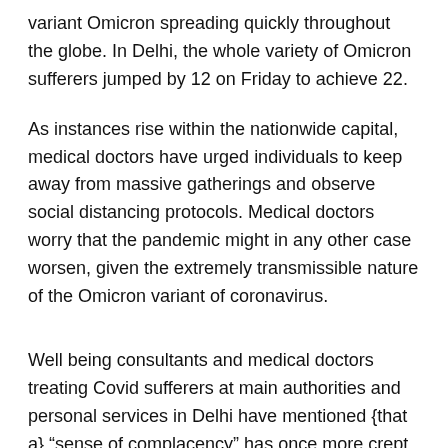variant Omicron spreading quickly throughout the globe. In Delhi, the whole variety of Omicron sufferers jumped by 12 on Friday to achieve 22.
As instances rise within the nationwide capital, medical doctors have urged individuals to keep away from massive gatherings and observe social distancing protocols. Medical doctors worry that the pandemic might in any other case worsen, given the extremely transmissible nature of the Omicron variant of coronavirus.
Well being consultants and medical doctors treating Covid sufferers at main authorities and personal services in Delhi have mentioned {that a} “sense of complacency” has once more crept in amongst a big part of residents regardless of witnessing the “horrors of the second wave” of Covid